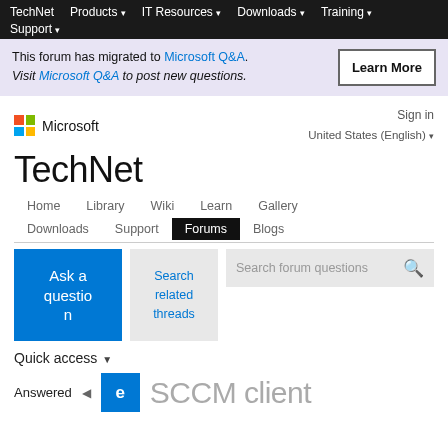TechNet  Products  IT Resources  Downloads  Training  Support
This forum has migrated to Microsoft Q&A. Visit Microsoft Q&A to post new questions.
TechNet
Home  Library  Wiki  Learn  Gallery  Downloads  Support  Forums  Blogs
Ask a question
Search related threads
Search forum questions
Quick access
Answered
SCCM client